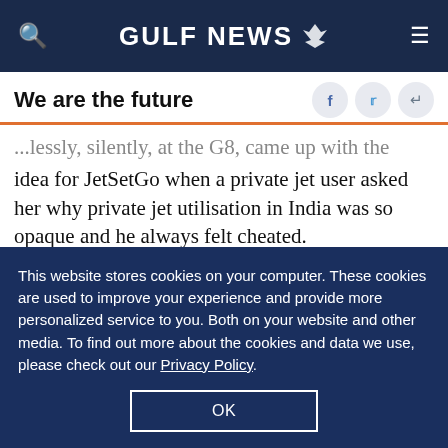GULF NEWS
We are the future
...lessly, silently, at the G8, came up with the idea for JetSetGo when a private jet user asked her why private jet utilisation in India was so opaque and he always felt cheated.
“The first flight we booked on JetSetGo never happened because the owner backed out two hours
This website stores cookies on your computer. These cookies are used to improve your experience and provide more personalized service to you. Both on your website and other media. To find out more about the cookies and data we use, please check out our Privacy Policy.